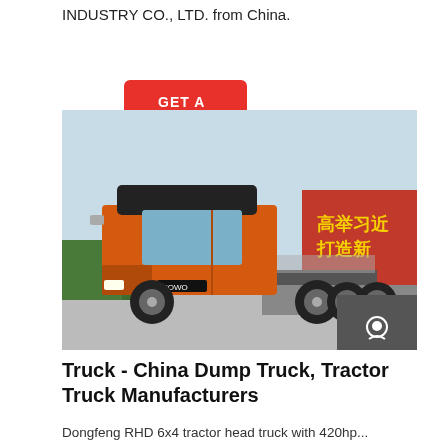INDUSTRY CO., LTD. from China.
GET A QUOTE
[Figure (photo): Orange Sinotruk HOWO 6x4 tractor head truck parked in a lot with trees and a red banner with Chinese characters in the background. Sidebar with Chat, Email, and Contact icons overlaid on the right.]
Truck - China Dump Truck, Tractor Truck Manufacturers
Dongfeng RHD 6x4 tractor head truck with 420hp...